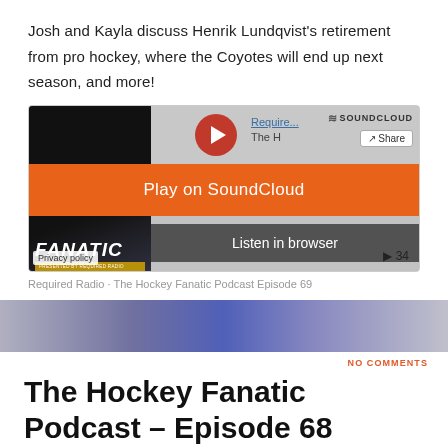Josh and Kayla discuss Henrik Lundqvist's retirement from pro hockey, where the Coyotes will end up next season, and more!
[Figure (screenshot): SoundCloud embedded player widget showing a podcast episode with orange 'Play on SoundCloud' overlay button and 'Listen in browser' option]
Required Radio · The Hockey Fanatic Podcast Episode 69
[Figure (photo): Partial image strip showing a blue-toned background, likely a hockey-related image]
NO COMMENTS
The Hockey Fanatic Podcast – Episode 68